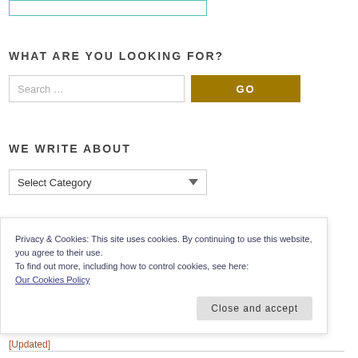[Figure (screenshot): Partial top border of a content box with teal/cyan outline]
WHAT ARE YOU LOOKING FOR?
[Figure (screenshot): Search input box with placeholder 'Search ...' and a gold GO button]
WE WRITE ABOUT
[Figure (screenshot): Dropdown select box labeled 'Select Category' with down arrow]
Privacy & Cookies: This site uses cookies. By continuing to use this website, you agree to their use.
To find out more, including how to control cookies, see here:
Our Cookies Policy
[Figure (screenshot): Close and accept button]
[Updated]